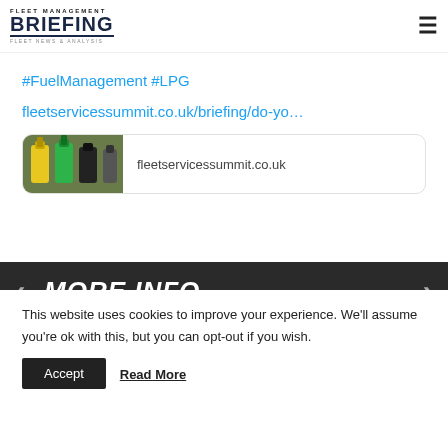Fleet Management Briefing - Fleet News & Analysis
#FuelManagement #LPG
fleetservicessummit.co.uk/briefing/do-yo…
[Figure (screenshot): Link preview card showing fuel pump nozzles image and text 'fleetservicessummit.co.uk']
MORE INFO
Fill in our quick form to request more info on this event
This website uses cookies to improve your experience. We'll assume you're ok with this, but you can opt-out if you wish.
Accept   Read More